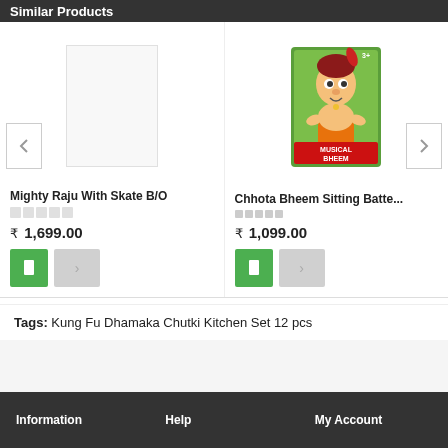Similar Products
[Figure (photo): Product image area for Mighty Raju With Skate (empty/placeholder)]
Mighty Raju With Skate B/O
₹ 1,699.00
[Figure (photo): Chhota Bheem sitting toy doll product photo in orange packaging box]
Chhota Bheem Sitting Batte...
₹ 1,099.00
Tags: Kung Fu Dhamaka Chutki Kitchen Set 12 pcs
Information    Help    My Account